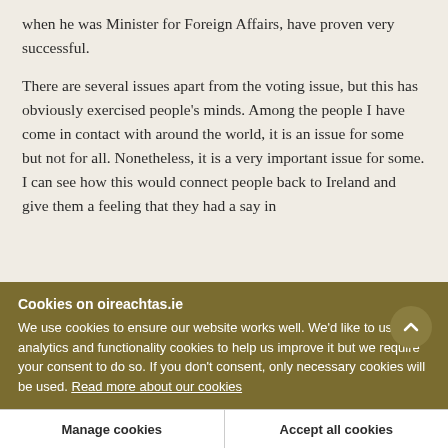when he was Minister for Foreign Affairs, have proven very successful.
There are several issues apart from the voting issue, but this has obviously exercised people's minds. Among the people I have come in contact with around the world, it is an issue for some but not for all. Nonetheless, it is a very important issue for some. I can see how this would connect people back to Ireland and give them a feeling that they had a say in
Cookies on oireachtas.ie
We use cookies to ensure our website works well. We'd like to use analytics and functionality cookies to help us improve it but we require your consent to do so. If you don't consent, only necessary cookies will be used. Read more about our cookies
Manage cookies
Accept all cookies